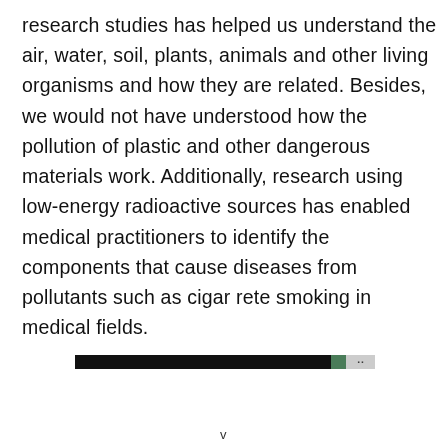research studies has helped us understand the air, water, soil, plants, animals and other living organisms and how they are related. Besides, we would not have understood how the pollution of plastic and other dangerous materials work. Additionally, research using low-energy radioactive sources has enabled medical practitioners to identify the components that cause diseases from pollutants such as cigar rete smoking in medical fields.
[Figure (other): A dark horizontal advertisement bar near the bottom of the text content]
v